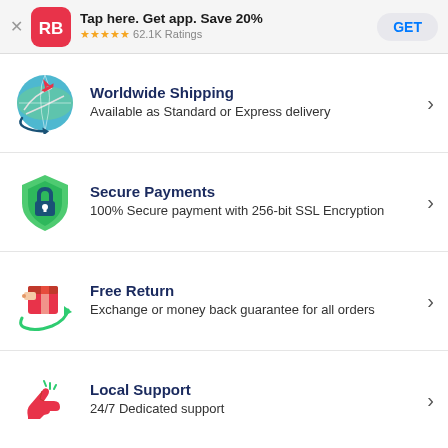Tap here. Get app. Save 20% ★★★★★ 62.1K Ratings GET
Worldwide Shipping
Available as Standard or Express delivery
Secure Payments
100% Secure payment with 256-bit SSL Encryption
Free Return
Exchange or money back guarantee for all orders
Local Support
24/7 Dedicated support